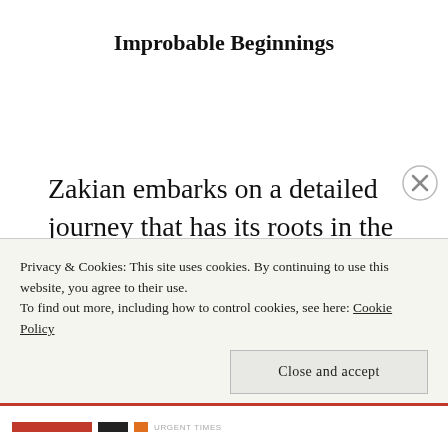Improbable Beginnings
Zakian embarks on a detailed journey that has its roots in the little community of Armenians in Worcester, Massachusetts, who banded together to form the first Armenian Church of America, the Church of Our Savior. From this small and improbable starting point,
Privacy & Cookies: This site uses cookies. By continuing to use this website, you agree to their use.
To find out more, including how to control cookies, see here: Cookie Policy
Close and accept